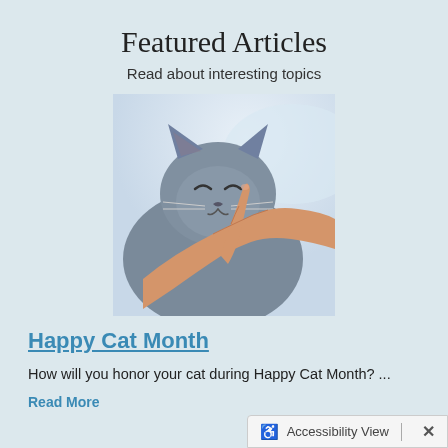Featured Articles
Read about interesting topics
[Figure (photo): A grey British Shorthair cat with eyes closed contentedly while a human finger gently touches its chin/face area. The cat appears happy and relaxed.]
Happy Cat Month
How will you honor your cat during Happy Cat Month? ...
Read More
Accessibility View  ×